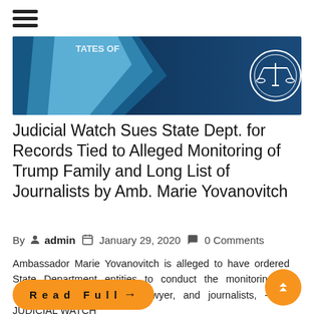[Figure (illustration): Judicial Watch website banner with dark blue background, scales of justice badge, and US government imagery.]
Judicial Watch Sues State Dept. for Records Tied to Alleged Monitoring of Trump Family and Long List of Journalists by Amb. Marie Yovanovitch
By admin   January 29, 2020   0 Comments
Ambassador Marie Yovanovitch is alleged to have ordered State Department entities to conduct the monitoring of President Trump’s family, lawyer, and journalists, - BY JUDICIAL WATCH